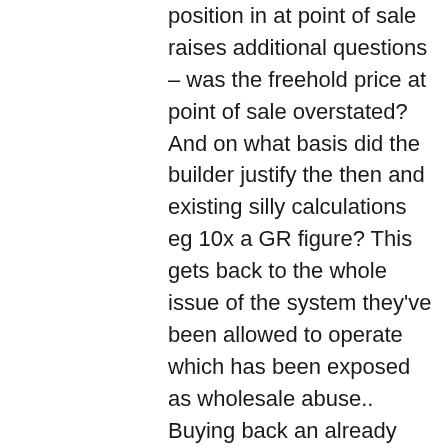position in at point of sale raises additional questions – was the freehold price at point of sale overstated? And on what basis did the builder justify the then and existing silly calculations eg 10x a GR figure? This gets back to the whole issue of the system they've been allowed to operate which has been exposed as wholesale abuse.. Buying back an already inflated FH will not right the wrong. The builders made £bn profit on the homes they sold us during this period and to offer to let us now